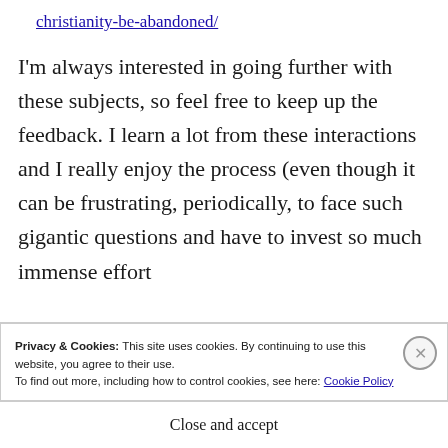christianity-be-abandoned/
I'm always interested in going further with these subjects, so feel free to keep up the feedback. I learn a lot from these interactions and I really enjoy the process (even though it can be frustrating, periodically, to face such gigantic questions and have to invest so much immense effort
Privacy & Cookies: This site uses cookies. By continuing to use this website, you agree to their use.
To find out more, including how to control cookies, see here: Cookie Policy
Close and accept